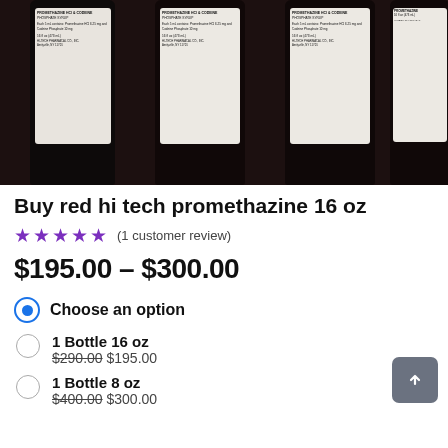[Figure (photo): Photo of multiple dark glass bottles with white pharmaceutical labels on a dark surface. Labels appear to be for promethazine with codeine syrup, 16 fl oz (473 mL).]
Buy red hi tech promethazine 16 oz
★★★★★ (1 customer review)
$195.00 – $300.00
Choose an option
1 Bottle 16 oz $290.00 $195.00
1 Bottle 8 oz $400.00 $300.00